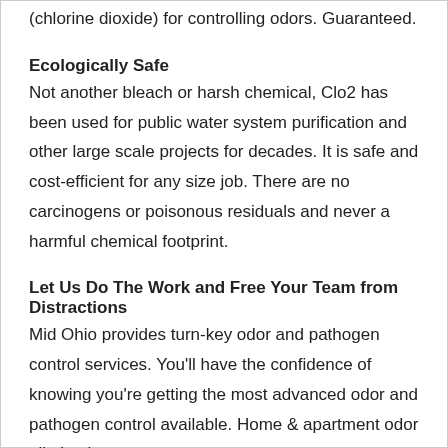(chlorine dioxide) for controlling odors. Guaranteed.
Ecologically Safe
Not another bleach or harsh chemical, Clo2 has been used for public water system purification and other large scale projects for decades. It is safe and cost-efficient for any size job. There are no carcinogens or poisonous residuals and never a harmful chemical footprint.
Let Us Do The Work and Free Your Team from Distractions
Mid Ohio provides turn-key odor and pathogen control services. You'll have the confidence of knowing you're getting the most advanced odor and pathogen control available. Home & apartment odor elimination
•Extreme cigarette/cannabis smoke smell
•Disinfects and Prevents MRSA (antibiotic resistant staph), Ebola and others
•Smoking room conversions in hotels and casinos
•Pet Odor